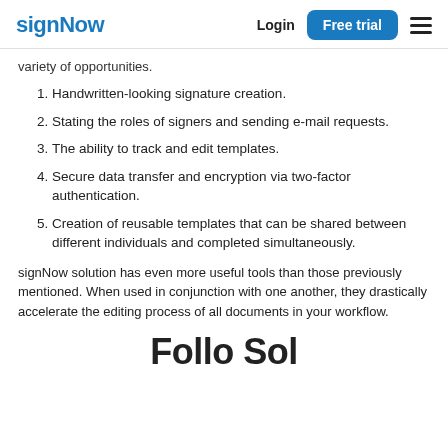signNow  Login  Free trial
variety of opportunities.
Handwritten-looking signature creation.
Stating the roles of signers and sending e-mail requests.
The ability to track and edit templates.
Secure data transfer and encryption via two-factor authentication.
Creation of reusable templates that can be shared between different individuals and completed simultaneously.
signNow solution has even more useful tools than those previously mentioned. When used in conjunction with one another, they drastically accelerate the editing process of all documents in your workflow.
Follo...